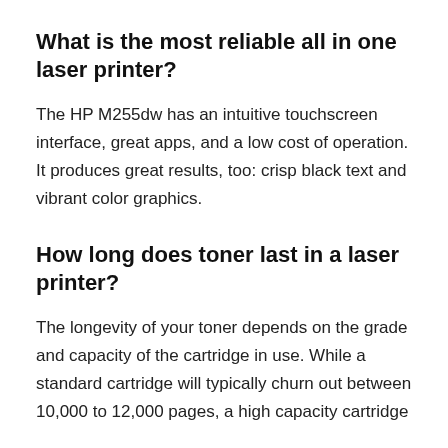What is the most reliable all in one laser printer?
The HP M255dw has an intuitive touchscreen interface, great apps, and a low cost of operation. It produces great results, too: crisp black text and vibrant color graphics.
How long does toner last in a laser printer?
The longevity of your toner depends on the grade and capacity of the cartridge in use. While a standard cartridge will typically churn out between 10,000 to 12,000 pages, a high capacity cartridge